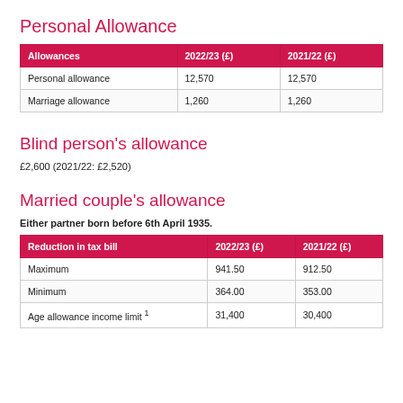Personal Allowance
| Allowances | 2022/23 (£) | 2021/22 (£) |
| --- | --- | --- |
| Personal allowance | 12,570 | 12,570 |
| Marriage allowance | 1,260 | 1,260 |
Blind person's allowance
£2,600 (2021/22: £2,520)
Married couple's allowance
Either partner born before 6th April 1935.
| Reduction in tax bill | 2022/23 (£) | 2021/22 (£) |
| --- | --- | --- |
| Maximum | 941.50 | 912.50 |
| Minimum | 364.00 | 353.00 |
| Age allowance income limit ¹ | 31,400 | 30,400 |